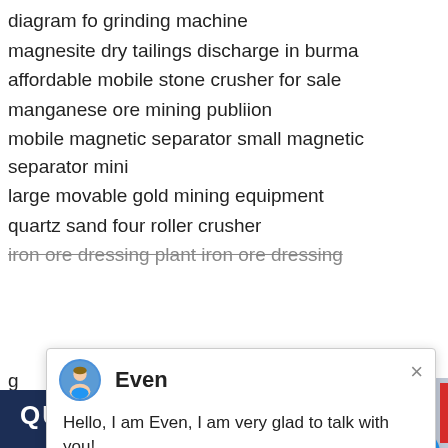diagram fo grinding machine
magnesite dry tailings discharge in burma
affordable mobile stone crusher for sale
manganese ore mining publiion
mobile magnetic separator small magnetic separator mini
large movable gold mining equipment
quartz sand four roller crusher
iron ore dressing plant iron ore dressing
[Figure (screenshot): Chat popup with avatar of 'Even', close button (×), and message: Hello, I am Even, I am very glad to talk with you!]
QUALITY SERVIC
[Figure (screenshot): Support chat widget showing a smiling woman with headset, notification badge '1', 'Need questions & suggestion?' text, 'Chat Now' orange button, and 'Enquire' bar]